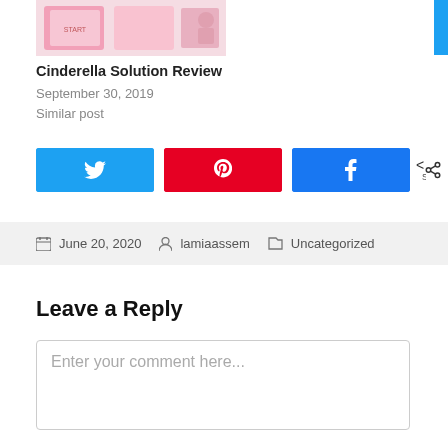[Figure (photo): Product image for Cinderella Solution with pink box packaging]
Cinderella Solution Review
September 30, 2019
Similar post
[Figure (infographic): Social share buttons: Twitter (blue), Pinterest (red), Facebook (blue), share count showing 0 SHARES]
June 20, 2020  lamiaassem  Uncategorized
Leave a Reply
Enter your comment here...